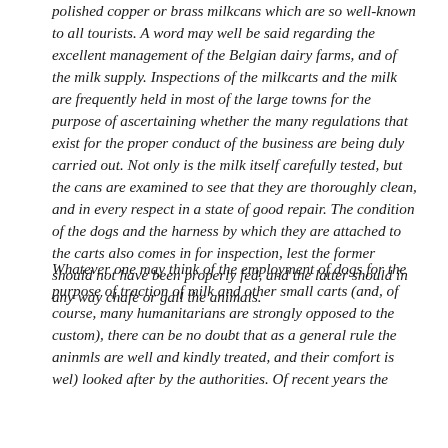polished copper or brass milkcans which are so well-known to all tourists. A word may well be said regarding the excellent management of the Belgian dairy farms, and of the milk supply. Inspections of the milkcarts and the milk are frequently held in most of the large towns for the purpose of ascertaining whether the many regulations that exist for the proper conduct of the business are being duly carried out. Not only is the milk itself carefully tested, but the cans are examined to see that they are thoroughly clean, and in every respect in a state of good repair. The condition of the dogs and the harness by which they are attached to the carts also comes in for inspection, lest the former should not have been properly fed, and the latter should in any way chafe or gall the animals.
Whatever one may think of the employment of dogs for the purpose of traction of milk and other small carts (and, of course, many humanitarians are strongly opposed to the custom), there can be no doubt that as a general rule the aninmls are well and kindly treated, and their comfort is wel) looked after by the authorities. Of recent years the